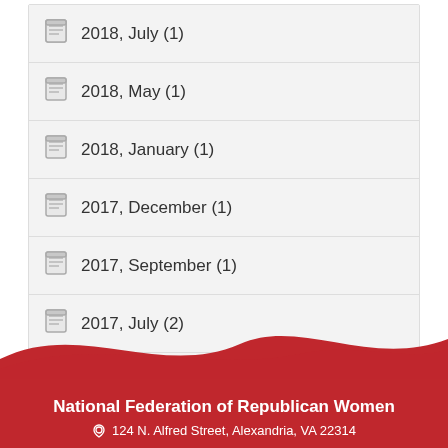2018, July (1)
2018, May (1)
2018, January (1)
2017, December (1)
2017, September (1)
2017, July (2)
2017, June (2)
2017, May (4)
National Federation of Republican Women
124 N. Alfred Street, Alexandria, VA 22314